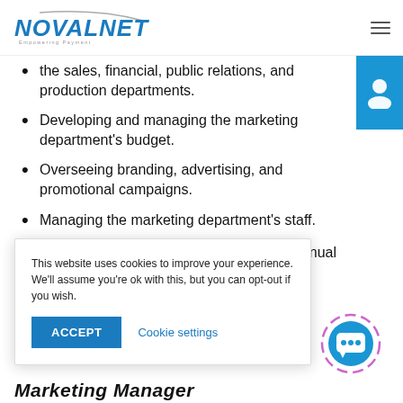NOVALNET Empowering Payment
the sales, financial, public relations, and production departments.
Developing and managing the marketing department's budget.
Overseeing branding, advertising, and promotional campaigns.
Managing the marketing department's staff.
Preparing and presenting quarterly and annual reports to senior management.
This website uses cookies to improve your experience. We'll assume you're ok with this, but you can opt-out if you wish.
Marketing Manager